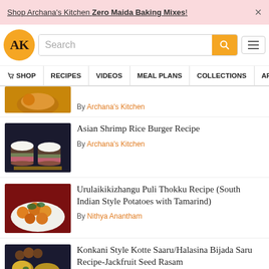Shop Archana's Kitchen Zero Maida Baking Mixes!
[Figure (logo): Archana's Kitchen AK logo in gold circle]
Search
SHOP   RECIPES   VIDEOS   MEAL PLANS   COLLECTIONS   AR
By Archana's Kitchen
Asian Shrimp Rice Burger Recipe
By Archana's Kitchen
Urulaikikizhangu Puli Thokku Recipe (South Indian Style Potatoes with Tamarind)
By Nithya Anantham
Konkani Style Kotte Saaru/Halasina Bijada Saru Recipe-Jackfruit Seed Rasam